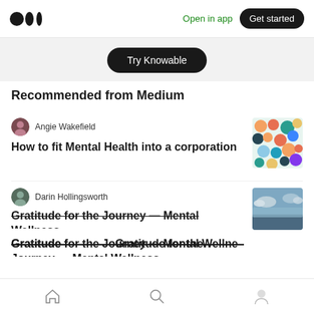Open in app | Get started
Try Knowable
Recommended from Medium
Angie Wakefield
How to fit Mental Health into a corporation
Darin Hollingsworth
Gratitude for the Journey — Mental Wellness
Home | Search | Profile